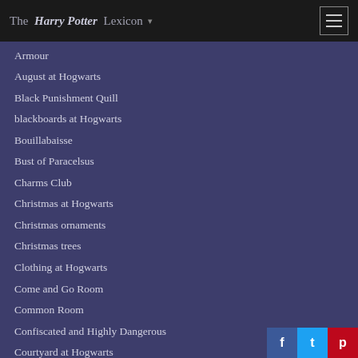The Harry Potter Lexicon
Armour
August at Hogwarts
Black Punishment Quill
blackboards at Hogwarts
Bouillabaisse
Bust of Paracelsus
Charms Club
Christmas at Hogwarts
Christmas ornaments
Christmas trees
Clothing at Hogwarts
Come and Go Room
Common Room
Confiscated and Highly Dangerous
Courtyard at Hogwarts
Death of Students or Staff